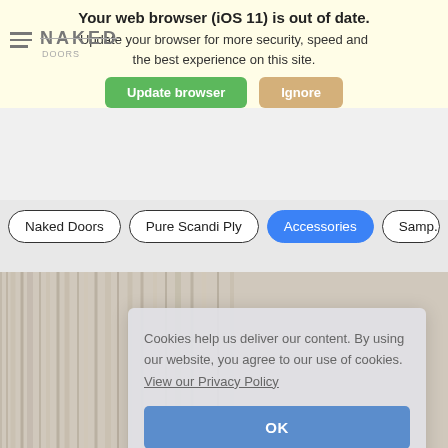Your web browser (iOS 11) is out of date. Update your browser for more security, speed and the best experience on this site.
Update browser | Ignore
Naked Doors | Pure Scandi Ply | Accessories | Samples
Cookies help us deliver our content. By using our website, you agree to our use of cookies. View our Privacy Policy
OK